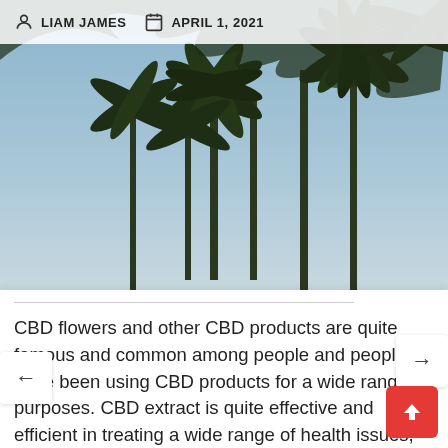LIAM JAMES   APRIL 1, 2021
[Figure (photo): Cannabis/hemp plants photographed from below against a blue sky background]
CBD flowers and other CBD products are quite famous and common among people and people have been using CBD products for a wide range of purposes. CBD extract is quite effective and efficient in treating a wide range of health issues, CBD extract is extracted from plants, such as hemp plants and marijuana plants. CBD extract from hemp plants is better as compared to that extracted from marijuana plants. People have been using CBD extract for several years. People can use